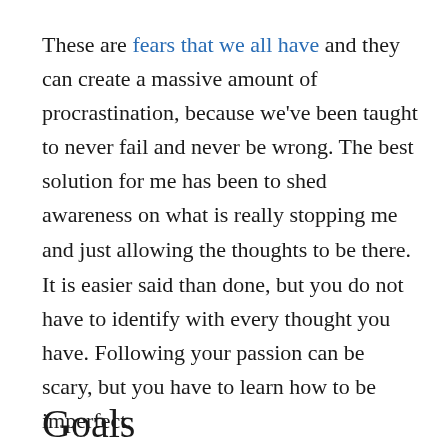These are fears that we all have and they can create a massive amount of procrastination, because we've been taught to never fail and never be wrong. The best solution for me has been to shed awareness on what is really stopping me and just allowing the thoughts to be there.
It is easier said than done, but you do not have to identify with every thought you have. Following your passion can be scary, but you have to learn how to be imperfect.
Goals